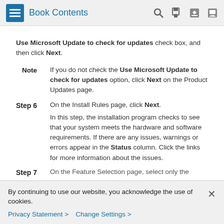Book Contents
Use Microsoft Update to check for updates check box, and then click Next.
Note  If you do not check the Use Microsoft Update to check for updates option, click Next on the Product Updates page.
Step 6  On the Install Rules page, click Next. In this step, the installation program checks to see that your system meets the hardware and software requirements. If there are any issues, warnings or errors appear in the Status column. Click the links for more information about the issues.
Step 7  On the Feature Selection page, select only the
By continuing to use our website, you acknowledge the use of cookies.
Privacy Statement > Change Settings >